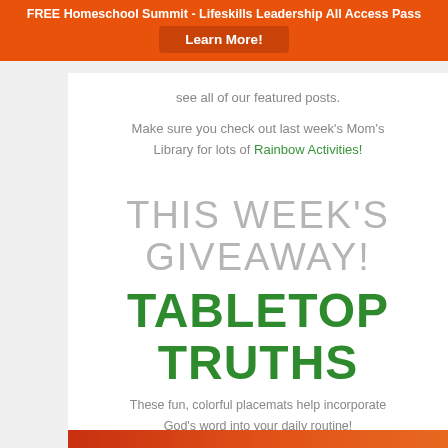FREE Homeschool Summit - Lifeskills Leadership All Access Pass
Learn More!
see all of our featured posts.
Make sure you check out last week's Mom's Library for lots of Rainbow Activities!
THIS WEEK'S GIVEAWAY! TABLETOP TRUTHS
These fun, colorful placemats help incorporate God's word into your daily routine!